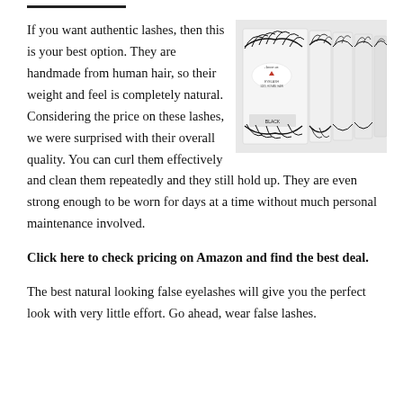[Figure (photo): Product photo showing multiple packs of Amor Us false eyelashes with black lashes fanned out on white packaging]
If you want authentic lashes, then this is your best option. They are handmade from human hair, so their weight and feel is completely natural. Considering the price on these lashes, we were surprised with their overall quality. You can curl them effectively and clean them repeatedly and they still hold up. They are even strong enough to be worn for days at a time without much personal maintenance involved.
Click here to check pricing on Amazon and find the best deal.
The best natural looking false eyelashes will give you the perfect look with very little effort. Go ahead, wear false lashes.